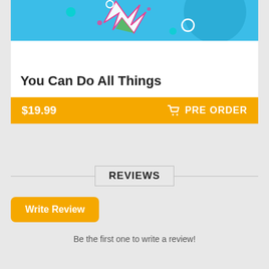[Figure (illustration): Colorful app/game illustration on a light blue background with a white lightning bolt/star shape, pink dots, a teal circle, and a large blue circular shape]
You Can Do All Things
$19.99    🛒 PRE ORDER
REVIEWS
Write Review
Be the first one to write a review!